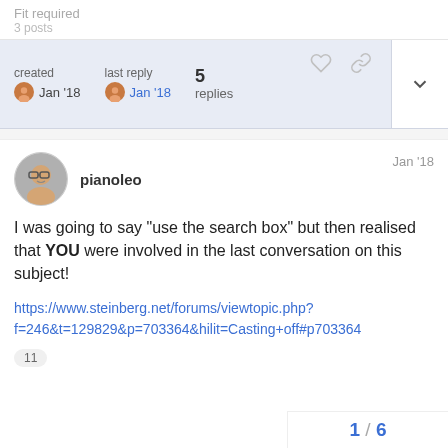Fit required
3 posts
created Jan '18   last reply Jan '18   5 replies
pianoleo   Jan '18
I was going to say “use the search box” but then realised that YOU were involved in the last conversation on this subject!
https://www.steinberg.net/forums/viewtopic.php?f=246&t=129829&p=703364&hilit=Casting+off#p703364
11
1 / 6